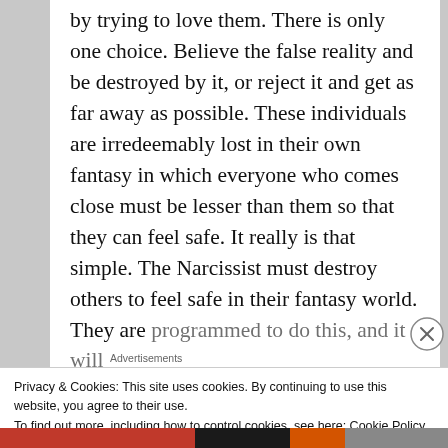by trying to love them. There is only one choice. Believe the false reality and be destroyed by it, or reject it and get as far away as possible. These individuals are irredeemably lost in their own fantasy in which everyone who comes close must be lesser than them so that they can feel safe. It really is that simple. The Narcissist must destroy others to feel safe in their fantasy world. They are programmed to do this, and it will
Advertisements
Privacy & Cookies: This site uses cookies. By continuing to use this website, you agree to their use.
To find out more, including how to control cookies, see here: Cookie Policy
Close and accept